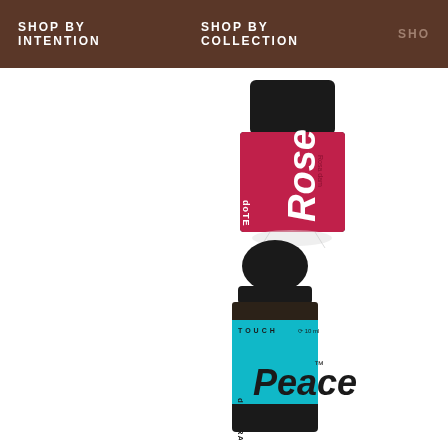SHOP BY INTENTION   SHOP BY COLLECTION   SHO
[Figure (photo): Partial view of a doTERRA Rose essential oil bottle with pink/magenta label and black cap, shown at an angle from above]
[Figure (photo): doTERRA Peace Touch roller bottle with teal/cyan label and black cap, full bottle view showing the brand name doTERRA and product name Peace Touch with 10ml size indicator]